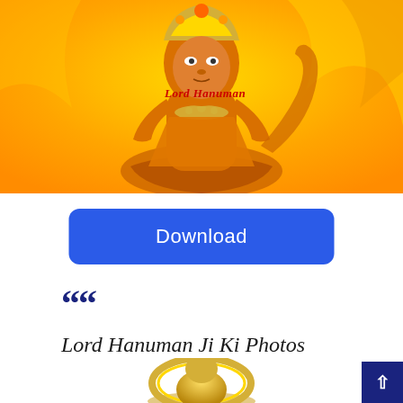[Figure (photo): Lord Hanuman deity image on golden/yellow background with text overlay 'Lord Hanuman' in red gothic font]
Download
““
Lord Hanuman Ji Ki Photos
[Figure (photo): Partial image of Lord Hanuman golden figurine/statue visible at bottom of page]